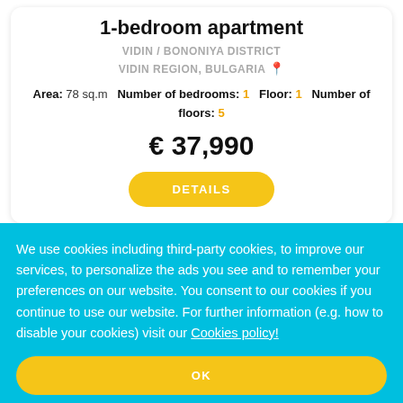1-bedroom apartment
VIDIN / BONONIYA DISTRICT
VIDIN REGION, BULGARIA
Area: 78 sq.m  Number of bedrooms: 1  Floor: 1  Number of floors: 5
€ 37,990
DETAILS
We use cookies including third-party cookies, to improve our services, to personalize the ads you see and to remember your preferences on our website. You consent to our cookies if you continue to use our website. For further information (e.g. how to disable your cookies) visit our Cookies policy!
OK